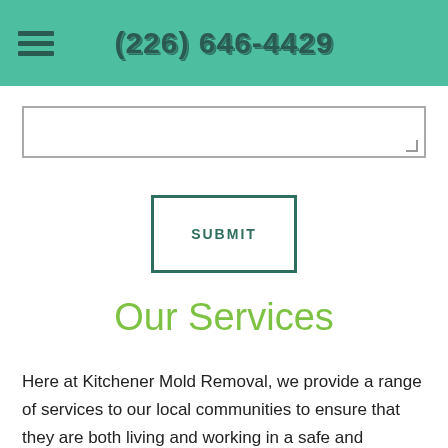(226) 646-4429
[textarea input field]
SUBMIT
Our Services
Here at Kitchener Mold Removal, we provide a range of services to our local communities to ensure that they are both living and working in a safe and pleasant environment. Mold can be a real health hazard, as well as potentially damaging to the structure and appearance of your property. As your local experts, we offer unbeatable standards of service that give you the opportunity to rejuvenate and repair your home or